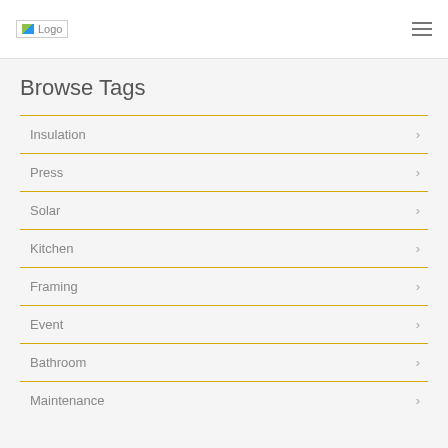Logo
Browse Tags
Insulation
Press
Solar
Kitchen
Framing
Event
Bathroom
Maintenance